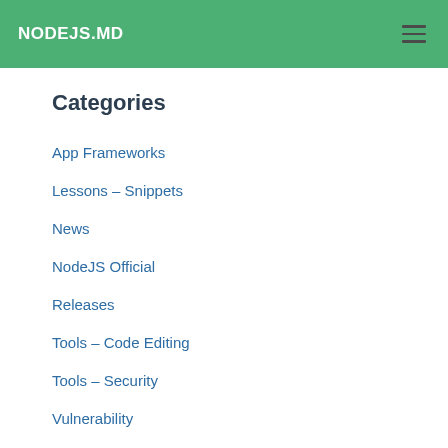NODEJS.MD
Categories
App Frameworks
Lessons – Snippets
News
NodeJS Official
Releases
Tools – Code Editing
Tools – Security
Vulnerability